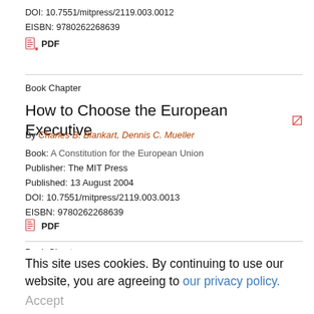DOI: 10.7551/mitpress/2119.003.0012
EISBN: 9780262268639
PDF
Book Chapter
How to Choose the European Executive
By Charles B. Blankart, Dennis C. Mueller
Book: A Constitution for the European Union
Publisher: The MIT Press
Published: 13 August 2004
DOI: 10.7551/mitpress/2119.003.0013
EISBN: 9780262268639
PDF
Book Chapter
This site uses cookies. By continuing to use our website, you are agreeing to our privacy policy. Accept